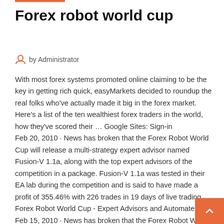Forex robot world cup
by Administrator
With most forex systems promoted online claiming to be the key in getting rich quick, easyMarkets decided to roundup the real folks who've actually made it big in the forex market. Here's a list of the ten wealthiest forex traders in the world, how they've scored their … Google Sites: Sign-in
Feb 20, 2010 · News has broken that the Forex Robot World Cup will release a multi-strategy expert advisor named Fusion-V 1.1a, along with the top expert advisors of the competition in a package. Fusion-V 1.1a was tested in their EA lab during the competition and is said to have made a profit of 355.46% with 226 trades in 19 days of live trading. Forex Robot World Cup - Expert Advisors and Automated … Feb 15, 2010 · News has broken that the Forex Robot World Cup will release a multi-strategy expert advisor named Fusion-V 1.1a, along with the top expert advisors of the competition in a package. Fusion-V 1.1a